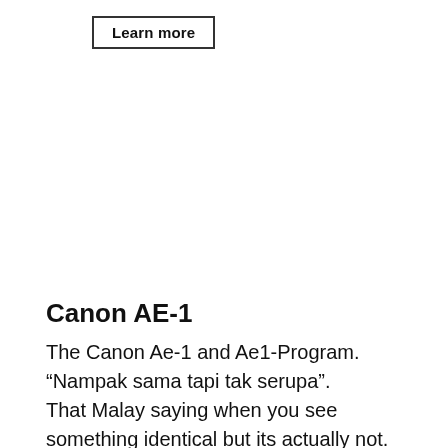[Figure (other): A button element with text 'Learn more' inside a rectangular border]
Canon AE-1
The Canon Ae-1 and Ae1-Program. “Nampak sama tapi tak serupa”.
That Malay saying when you see something identical but its actually not.